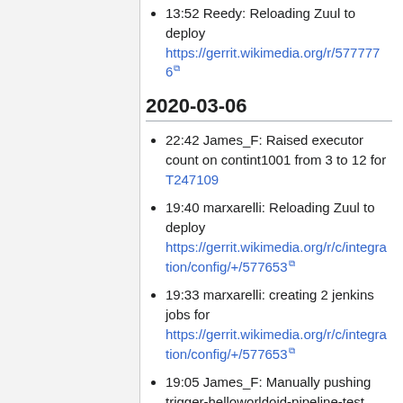13:52 Reedy: Reloading Zuul to deploy https://gerrit.wikimedia.org/r/577776
2020-03-06
22:42 James_F: Raised executor count on contint1001 from 3 to 12 for T247109
19:40 marxarelli: Reloading Zuul to deploy https://gerrit.wikimedia.org/r/c/integration/config/+/577653
19:33 marxarelli: creating 2 jenkins jobs for https://gerrit.wikimedia.org/r/c/integration/config/+/577653
19:05 James_F: Manually pushing trigger-helloworldoid-pipeline-test